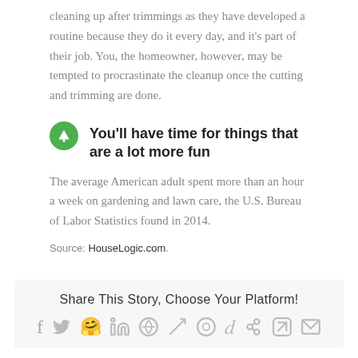cleaning up after trimmings as they have developed a routine because they do it every day, and it's part of their job. You, the homeowner, however, may be tempted to procrastinate the cleanup once the cutting and trimming are done.
You'll have time for things that are a lot more fun
The average American adult spent more than an hour a week on gardening and lawn care, the U.S. Bureau of Labor Statistics found in 2014.
Source: HouseLogic.com.
Share This Story, Choose Your Platform!